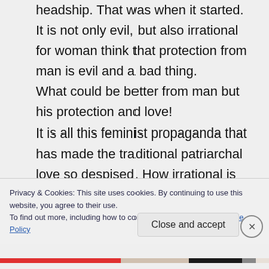headship. That was when it started. It is not only evil, but also irrational for woman think that protection from man is evil and a bad thing. What could be better from man but his protection and love! It is all this feminist propaganda that has made the traditional patriarchal love so despised. How irrational is hating love! Patriarchy really should not be a
Privacy & Cookies: This site uses cookies. By continuing to use this website, you agree to their use. To find out more, including how to control cookies, see here: Cookie Policy